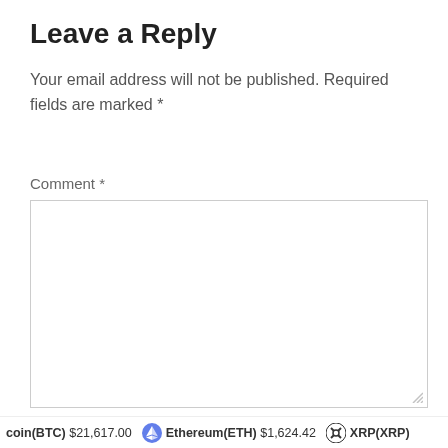Leave a Reply
Your email address will not be published. Required fields are marked *
Comment *
[Figure (other): Comment text area input field]
Name *
coin(BTC) $21,617.00   Ethereum(ETH) $1,624.42   XRP(XRP)